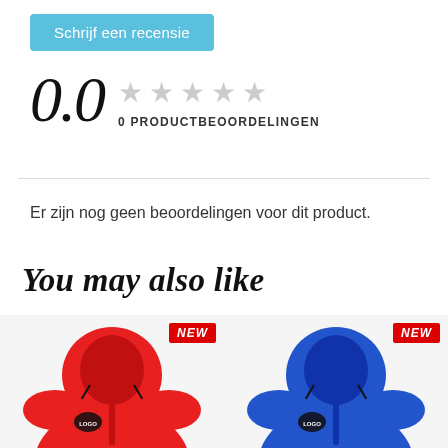Schrijf een recensie
0.0
0 PRODUCTBEOORDELINGEN
Er zijn nog geen beoordelingen voor dit product.
You may also like
[Figure (photo): Red hoodie with NEW badge and logo on chest]
[Figure (photo): Blue hoodie with NEW badge and logo on chest]